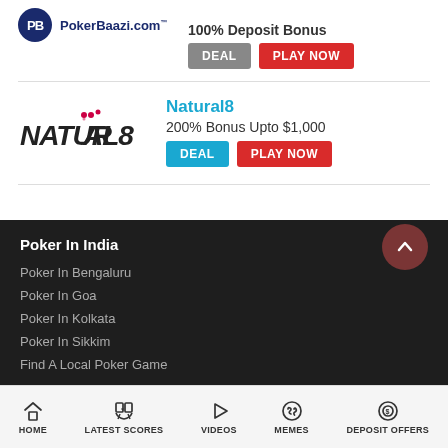[Figure (logo): PokerBaazi.com logo with blue circle PB icon]
100% Deposit Bonus
DEAL  PLAY NOW
[Figure (logo): Natural8 stylized text logo with pink dots]
Natural8
200% Bonus Upto $1,000
DEAL  PLAY NOW
Poker In India
Poker In Bengaluru
Poker In Goa
Poker In Kolkata
Poker In Sikkim
Find A Local Poker Game
About PokerGuru
HOME  LATEST SCORES  VIDEOS  MEMES  DEPOSIT OFFERS